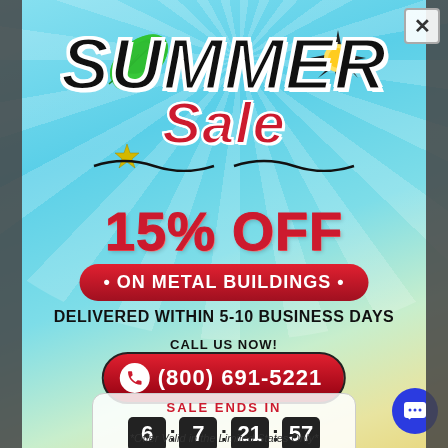[Figure (infographic): Summer Sale promotional popup with teal/cyan gradient background, sunrays, leaf and sun decorations, 15% off metal buildings offer, countdown timer showing 6:7:21:57, phone number (800) 691-5221]
SUMMER Sale
15% OFF
• ON METAL BUILDINGS •
DELIVERED WITHIN 5-10 BUSINESS DAYS
CALL US NOW!
(800) 691-5221
SALE ENDS IN
6 : 7 : 21 : 57
DAYS   HRS   MIN   SEC
*Offer Valid in the Limited States Only*